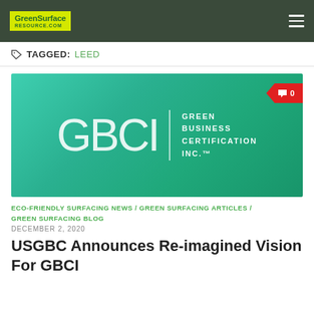GreenSurfaceResource.com
TAGGED: LEED
[Figure (logo): GBCI Green Business Certification Inc. logo on a teal gradient background with a red comment badge showing 0 comments]
ECO-FRIENDLY SURFACING NEWS / GREEN SURFACING ARTICLES / GREEN SURFACING BLOG
DECEMBER 2, 2020
USGBC Announces Re-imagined Vision For GBCI